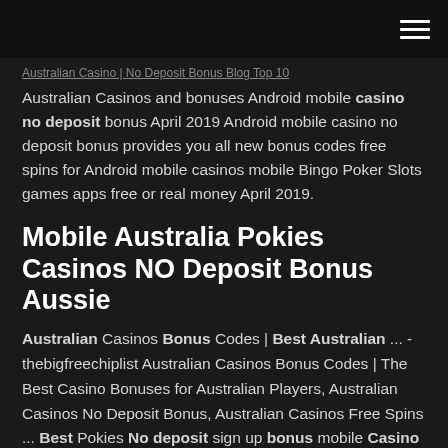Australian Casino | No Deposit Bonus Blog Top 10
Australian Casinos and bonuses Android mobile casino no deposit bonus April 2019 Android mobile casino no deposit bonus provides you all new bonus codes free spins for Android mobile casinos mobile Bingo Poker Slots games apps free or real money April 2019.
Mobile Australia Pokies Casinos NO Deposit Bonus Aussie
Australian Casinos Bonus Codes | Best Australian ... - thebigfreechiplist Australian Casinos Bonus Codes | The Best Casino Bonuses for Australian Players, Australian Casinos No Deposit Bonus, Australian Casinos Free Spins ... Best Pokies No deposit sign up bonus mobile Casino